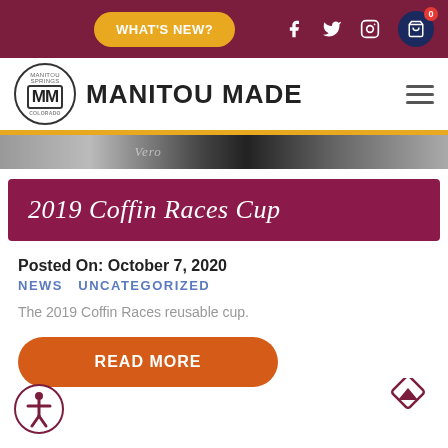WHAT'S NEW? [navigation bar with Manitou Made logo]
[Figure (screenshot): Partial image strip showing dark background with decorative text]
2019 Coffin Races Cup
Posted On: October 7, 2020
NEWS  UNCATEGORIZED
The 2019 Coffin Races reusable cup.
READ MORE